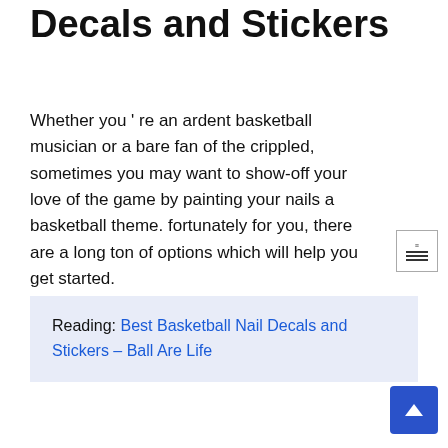Basketball Nail Decals and Stickers
Whether you ' re an ardent basketball musician or a bare fan of the crippled, sometimes you may want to show-off your love of the game by painting your nails a basketball theme. fortunately for you, there are a long ton of options which will help you get started.
Reading: Best Basketball Nail Decals and Stickers – Ball Are Life